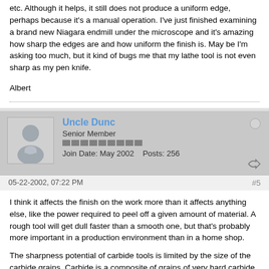etc. Although it helps, it still does not produce a uniform edge, perhaps because it's a manual operation. I've just finished examining a brand new Niagara endmill under the microscope and it's amazing how sharp the edges are and how uniform the finish is. May be I'm asking too much, but it kind of bugs me that my lathe tool is not even sharp as my pen knife.
Albert
Uncle Dunc
Senior Member
Join Date: May 2002    Posts: 256
05-22-2002, 07:22 PM
#5
I think it affects the finish on the work more than it affects anything else, like the power required to peel off a given amount of material. A rough tool will get dull faster than a smooth one, but that's probably more important in a production environment than in a home shop.
The sharpness potential of carbide tools is limited by the size of the carbide grains. Carbide is a composite of grains of very hard carbide in a matrix of a softer, tougher material, typically cobalt. Every sharp edge looks rough and scratched if you magnify it enough. As the abrasive gets finer, the scratches get smaller. When the scratches are about the